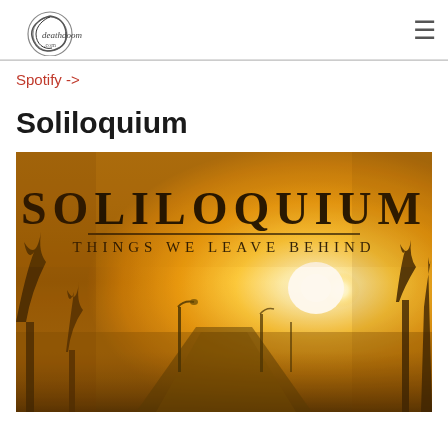deathdoom.com
Spotify ->
Soliloquium
[Figure (photo): Album cover for Soliloquium - Things We Leave Behind. Golden/amber toned atmospheric photo of a misty road with bare trees and a bright sun low on the horizon, with the text SOLILOQUIUM in large serif letters and THINGS WE LEAVE BEHIND beneath it with a horizontal rule.]